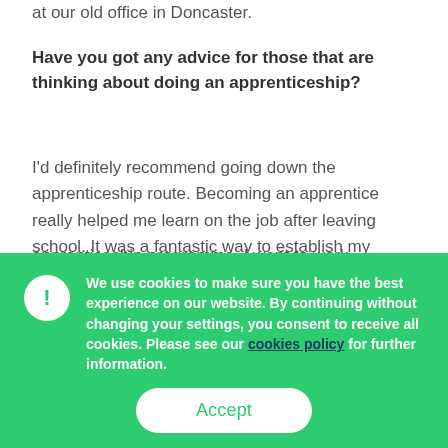at our old office in Doncaster.
Have you got any advice for those that are thinking about doing an apprenticeship?
I'd definitely recommend going down the apprenticeship route. Becoming an apprentice really helped me learn on the job after leaving school. It was a fantastic way to establish my career. After the initial year of completing the apprenticeship programme, I went to work
We use cookies to make sure you have the best experience on our website. By continuing without changing your settings, you consent to receive all cookies. Please see our cookies policy for further information.
Accept